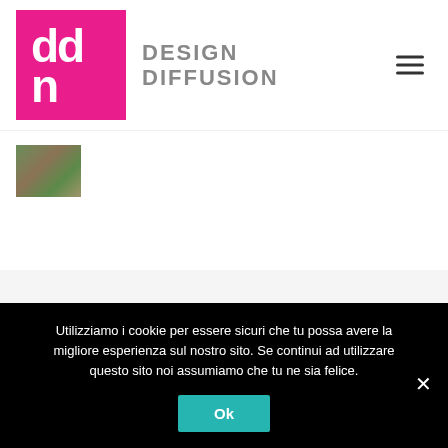[Figure (logo): Design Diffusion logo: pink/magenta square with white 'ddn' letters, followed by 'DESIGN DIFFUSION' text in gray]
[Figure (photo): Small thumbnail image showing a forest/woodland scene with trees]
Related Posts
Utilizziamo i cookie per essere sicuri che tu possa avere la migliore esperienza sul nostro sito. Se continui ad utilizzare questo sito noi assumiamo che tu ne sia felice.
Ok